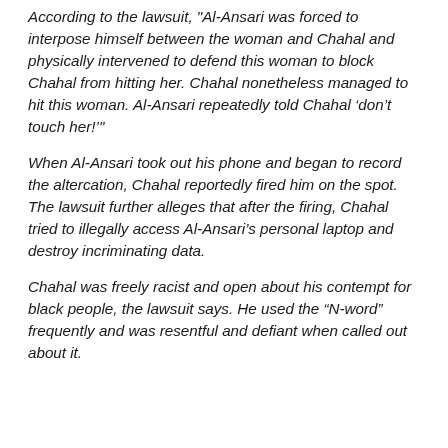According to the lawsuit, "Al-Ansari was forced to interpose himself between the woman and Chahal and physically intervened to defend this woman to block Chahal from hitting her. Chahal nonetheless managed to hit this woman. Al-Ansari repeatedly told Chahal ‘don’t touch her!’"
When Al-Ansari took out his phone and began to record the altercation, Chahal reportedly fired him on the spot. The lawsuit further alleges that after the firing, Chahal tried to illegally access Al-Ansari’s personal laptop and destroy incriminating data.
Chahal was freely racist and open about his contempt for black people, the lawsuit says. He used the “N-word” frequently and was resentful and defiant when called out about it.